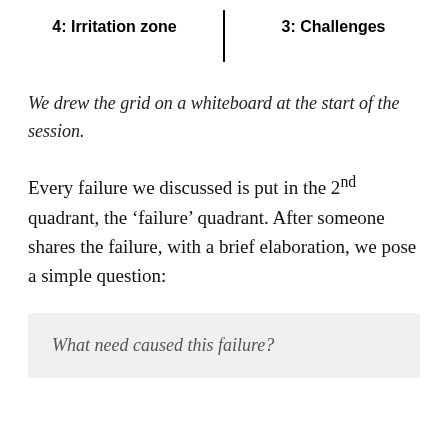4: Irritation zone | 3: Challenges
We drew the grid on a whiteboard at the start of the session.
Every failure we discussed is put in the 2nd quadrant, the ‘failure’ quadrant. After someone shares the failure, with a brief elaboration, we pose a simple question:
What need caused this failure?